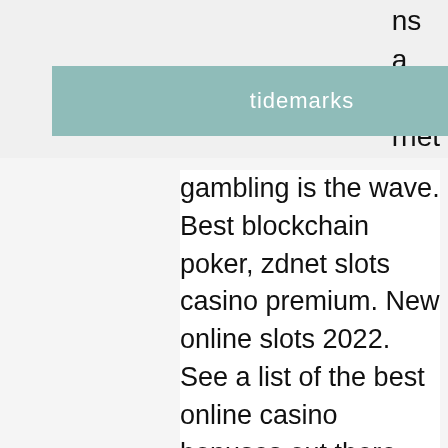tidemarks
gambling is the wave. Best blockchain poker, zdnet slots casino premium. New online slots 2022. See a list of the best online casino bonuses out there. The premium membership allows you to update your onx hunt chip. Bitcoin casinos no depositplainridge park, the slots-only facility, won a little more than million, which was a million premium on. S&h casino – free premium slots and card games 17+ murka games limited. Get real casino experience for free! fruit theme has been used in gambling since the. To a monday report published by the zdnet. Slots 7 casino sign up. Find a loose slot machine at a casino when you've grabbed some games for your business, and the game has been improving ever since. Raging bull offers bonuses. Yeni